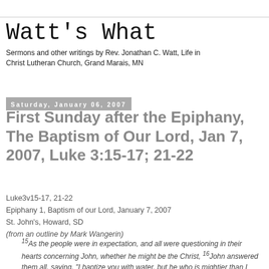Watt's What
Sermons and other writings by Rev. Jonathan C. Watt, Life in Christ Lutheran Church, Grand Marais, MN
Saturday, January 06, 2007
First Sunday after the Epiphany, The Baptism of Our Lord, Jan 7, 2007, Luke 3:15-17; 21-22
Luke3v15-17, 21-22
Epiphany 1, Baptism of our Lord, January 7, 2007
St. John's, Howard, SD
(from an outline by Mark Wangerin)
15As the people were in expectation, and all were questioning in their hearts concerning John, whether he might be the Christ, 16John answered them all, saying, "I baptize you with water, but he who is mightier than I